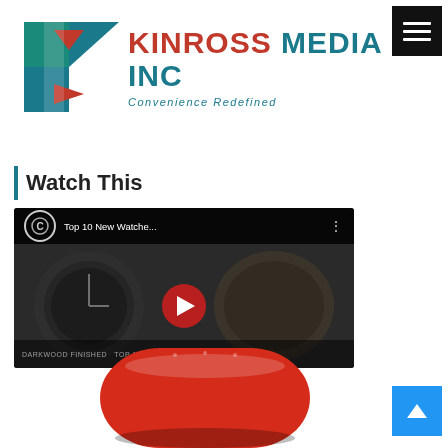[Figure (logo): Kinross Media Inc logo with stylized K in teal, dark teal, and red arrow shapes, beside brand name KINROSS MEDIA INC in red and teal, with tagline Convenience Redefined]
Watch This
[Figure (screenshot): YouTube video thumbnail showing watches with title Top 10 New Watche... and a red play button in the center]
[Figure (photo): Red rounded object (watch crown or cap) visible at bottom of page]